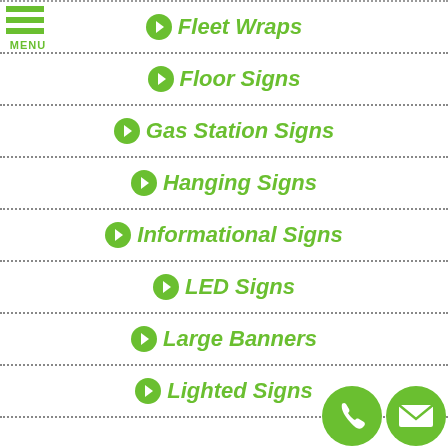Fleet Wraps
Floor Signs
Gas Station Signs
Hanging Signs
Informational Signs
LED Signs
Large Banners
Lighted Signs
[Figure (illustration): Hamburger menu icon with three green bars and MENU label]